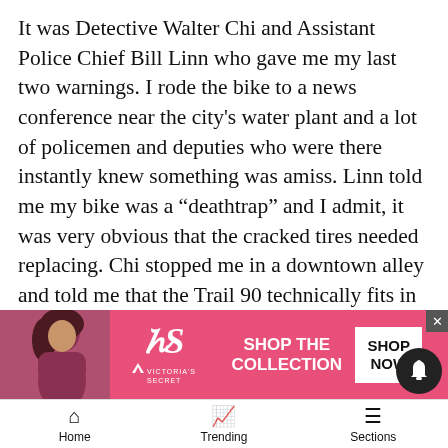It was Detective Walter Chi and Assistant Police Chief Bill Linn who gave me my last two warnings. I rode the bike to a news conference near the city’s water plant and a lot of policemen and deputies who were there instantly knew something was amiss. Linn told me my bike was a “deathtrap” and I admit, it was very obvious that the cracked tires needed replacing. Chi stopped me in a downtown alley and told me that the Trail 90 technically fits in the category of two-wheeled vehicles that have to be registered and insured. He was stern but fair.
So I’m going to follow the law and mothball the motorcycle until I can make the necessary adjustments. But for two months, I got to rebel agains… … was quite i…
[Figure (screenshot): Victoria's Secret advertisement banner with pink background, model photo, VS logo, SHOP THE COLLECTION text, and SHOP NOW button]
Home   Trending   Sections